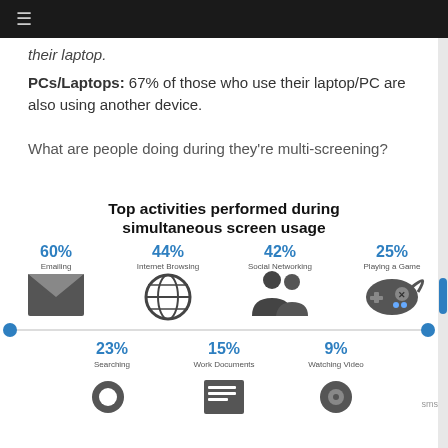≡
their laptop.
PCs/Laptops: 67% of those who use their laptop/PC are also using another device.
What are people doing during they're multi-screening?
[Figure (infographic): Infographic showing top activities during multi-screen usage with icons and percentages: 60% Emailing, 44% Internet Browsing, 42% Social Networking, 25% Playing a Game, 23% Searching, 15% Work Documents, 9% Watching Video]